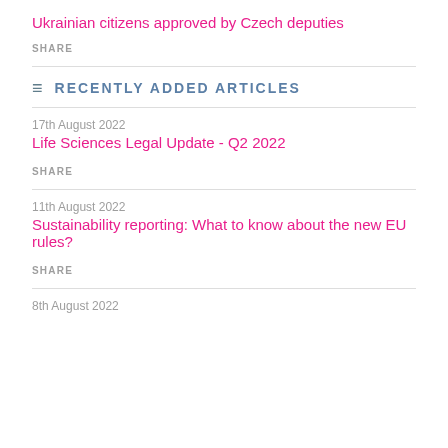Ukrainian citizens approved by Czech deputies
SHARE
RECENTLY ADDED ARTICLES
17th August 2022
Life Sciences Legal Update - Q2 2022
SHARE
11th August 2022
Sustainability reporting: What to know about the new EU rules?
SHARE
8th August 2022